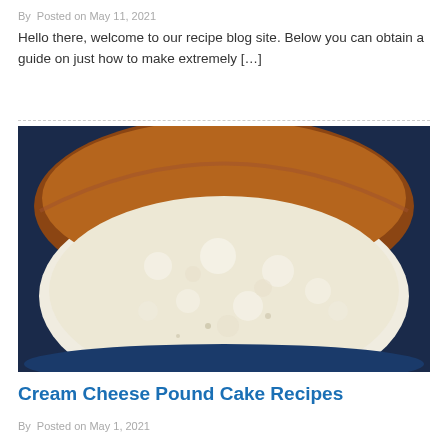By   Posted on May 11, 2021
Hello there, welcome to our recipe blog site. Below you can obtain a guide on just how to make extremely […]
[Figure (photo): Close-up photo of a sliced cream cheese pound cake showing the golden-brown crust and dense white interior crumb]
Cream Cheese Pound Cake Recipes
By   Posted on May 1, 2021